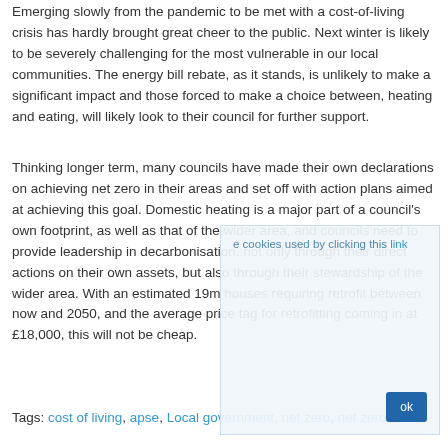Emerging slowly from the pandemic to be met with a cost-of-living crisis has hardly brought great cheer to the public. Next winter is likely to be severely challenging for the most vulnerable in our local communities. The energy bill rebate, as it stands, is unlikely to make a significant impact and those forced to make a choice between, heating and eating, will likely look to their council for further support.
Thinking longer term, many councils have made their own declarations on achieving net zero in their areas and set off with action plans aimed at achieving this goal. Domestic heating is a major part of a council's own footprint, as well as that of the wider area, and councils need to provide leadership in decarbonisation, not only through their direct actions on their own assets, but also through their stewardship of the wider area. With an estimated 19m houses requiring retrofit between now and 2050, and the average price tag for retrofitting coming in at £18,000, this will not be cheap.
Tags: cost of living, apse, Local government, net zero, net zero